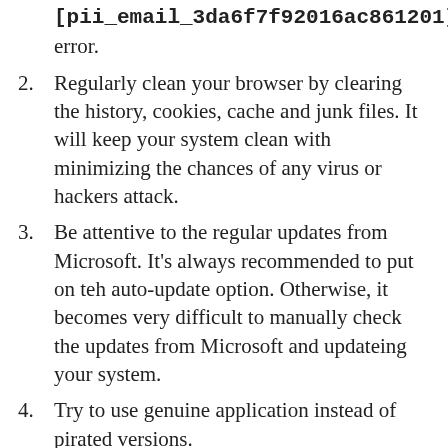[pii_email_3da6f7f92016ac861201] error.
2. Regularly clean your browser by clearing the history, cookies, cache and junk files. It will keep your system clean with minimizing the chances of any virus or hackers attack.
3. Be attentive to the regular updates from Microsoft. It's always recommended to put on teh auto-update option. Otherwise, it becomes very difficult to manually check the updates from Microsoft and updateing your system.
4. Try to use genuine application instead of pirated versions.
Final Verdict [pii_email_3da6f7f92016ac861201] Error
A number of people are searching how to fix